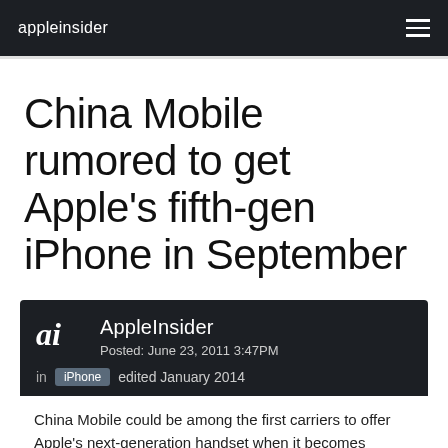appleinsider
China Mobile rumored to get Apple's fifth-gen iPhone in September
AppleInsider
Posted: June 23, 2011 3:47PM
in iPhone  edited January 2014
China Mobile could be among the first carriers to offer Apple's next-generation handset when it becomes available later this